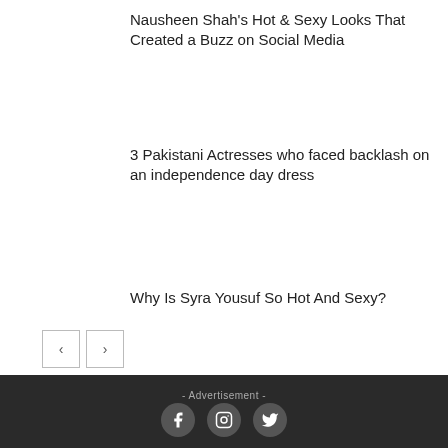Nausheen Shah's Hot & Sexy Looks That Created a Buzz on Social Media
3 Pakistani Actresses who faced backlash on an independence day dress
Why Is Syra Yousuf So Hot And Sexy?
- Advertisement -